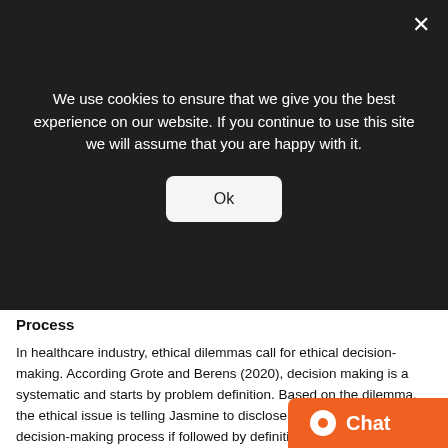We use cookies to ensure that we give you the best experience on our website. If you continue to use this site we will assume that you are happy with it.
Ok
Process
In healthcare industry, ethical dilemmas call for ethical decision-making. According Grote and Berens (2020), decision making is a systematic and starts by problem definition. Based on the dilemma, the ethical issue is telling Jasmine to disclose her HIV status. The decision-making process if followed by definition of stakeholders (Monrouxe and Rees, 2017). Based on the scenario, key stakeholders include Jasmine, the social worker, the executive director, the primary care provider, and Jasmine's colleagues. Subsequently, there should be a definition of consequences. In other words, the impacts of Jasmine disclosing her HIV status on her and other primary stakeholders.
In addition, decision-making calls for identificat... obligations. Based on the case study, should take the rights...